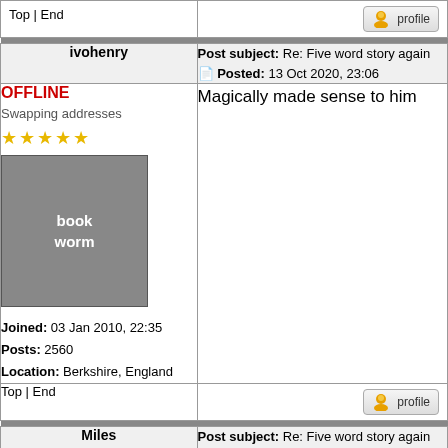| Top | End | [profile button] |
| ivohenry | Post subject: Re: Five word story again
Posted: 12 Oct 2020, 23:06 |
| OFFLINE
Swapping addresses
★★★★★
[bookworm avatar]
Joined: 03 Jan 2010, 22:35
Posts: 2560
Location: Berkshire, England | Magically made sense to him |
| Top | End | [profile button] |
| Miles | Post subject: Re: Five word story again
Posted: 13 Oct 2020, 07:14 |
| OFFLINE
Getting into trouble with Mlle Berne
★ | And as for quantum mechanics |